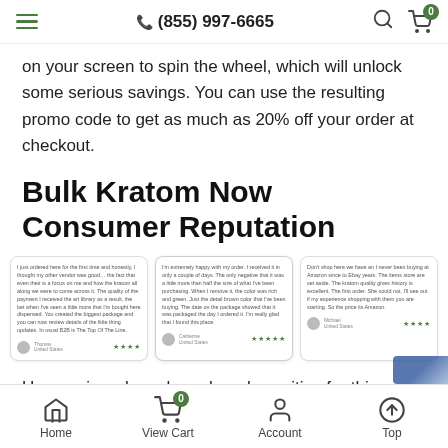(855) 997-6665
on your screen to spin the wheel, which will unlock some serious savings. You can use the resulting promo code to get as much as 20% off your order at checkout.
Bulk Kratom Now Consumer Reputation
[Figure (screenshot): Three customer review cards side by side, each with small text, a reviewer avatar, name, and green star ratings.]
User reviews have been largely positive for this brand, with one Double M Herbals member posting numerous s…
Home   View Cart   Account   Top